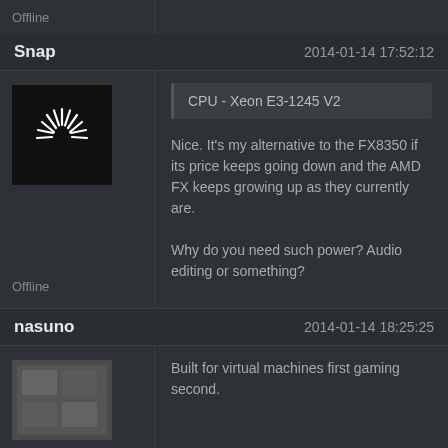Offline
Snap    2014-01-14 17:52:12
[Figure (logo): Black avatar with white starburst/flash rays icon]
CPU - Xeon E3-1245 V2
Nice. It's my alternative to the FX8350 if its price keeps going down and the AMD FX keeps growing up as they currently are.

Why do you need such power? Audio editing or something?
Offline
nasuno    2014-01-14 18:25:25
[Figure (photo): Small dark avatar image]
Built for virtual machines first gaming second.